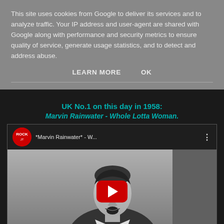This site uses cookies from Google to deliver its services and to analyze traffic. Your IP address and user-agent are shared with Google along with performance and security metrics to ensure quality of service, generate usage statistics, and to detect and address abuse.
LEARN MORE    OK
UK No.1 on this day in 1958: Marvin Rainwater - Whole Lotta Woman.
[Figure (screenshot): YouTube video embed showing *Marvin Rainwater* - W... with Rock channel logo and a black-and-white thumbnail of a man performing, with a red YouTube play button overlay.]